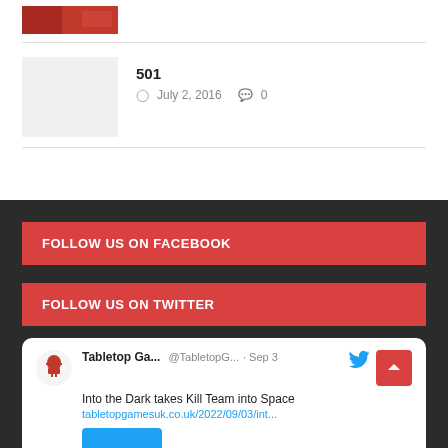[Figure (photo): Cropped image of a red and black scene, appears to be a game or action image thumbnail]
501
July 2, 2016   0
FOLLOW US ON FACEBOOK
FOLLOW US ON TWITTER
Tabletop Ga... @TabletopG... · Sep 3
Into the Dark takes Kill Team into Space
tabletopgamesuk.co.uk/2022/09/03/int...